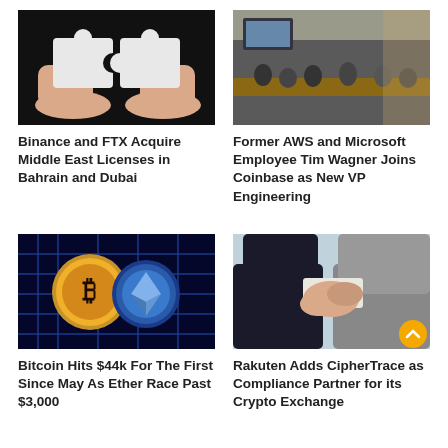[Figure (photo): Two hands holding white puzzle pieces against a black background]
[Figure (photo): People in a conference room with a screen showing a video call]
Binance and FTX Acquire Middle East Licenses in Bahrain and Dubai
Former AWS and Microsoft Employee Tim Wagner Joins Coinbase as New VP Engineering
[Figure (photo): Bitcoin and Ethereum coins on a blue digital circuit background]
[Figure (photo): Two people in suits shaking hands with a yellow scroll-up button overlay]
Bitcoin Hits $44k For The First Since May As Ether Race Past $3,000
Rakuten Adds CipherTrace as Compliance Partner for its Crypto Exchange